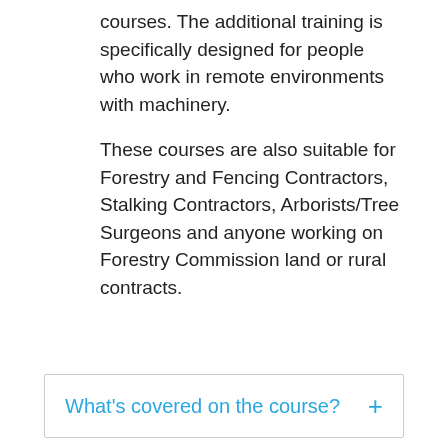courses. The additional training is specifically designed for people who work in remote environments with machinery.
These courses are also suitable for Forestry and Fencing Contractors, Stalking Contractors, Arborists/Tree Surgeons and anyone working on Forestry Commission land or rural contracts.
What's covered on the course?
Course Requirements